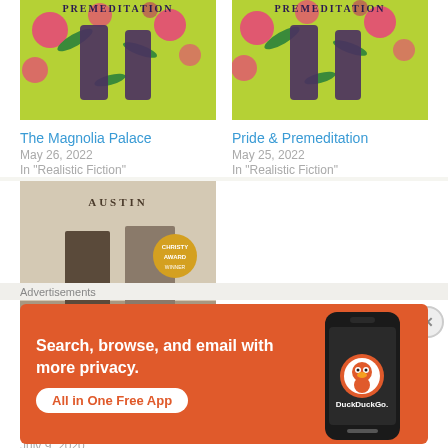[Figure (illustration): Book cover for The Magnolia Palace - green background with floral and silhouette design]
The Magnolia Palace
May 26, 2022
In "Realistic Fiction"
[Figure (illustration): Book cover for Pride & Premeditation - green background with floral and silhouette design]
Pride & Premeditation
May 25, 2022
In "Realistic Fiction"
[Figure (illustration): Book cover for If I Were You - showing legs/feet of two women with red text IF I WERE on lower half, Christy Award badge]
If I Were You
July 9, 2020
Advertisements
[Figure (illustration): DuckDuckGo advertisement banner - orange background, text: Search, browse, and email with more privacy. All in One Free App. Shows DuckDuckGo logo and a smartphone.]